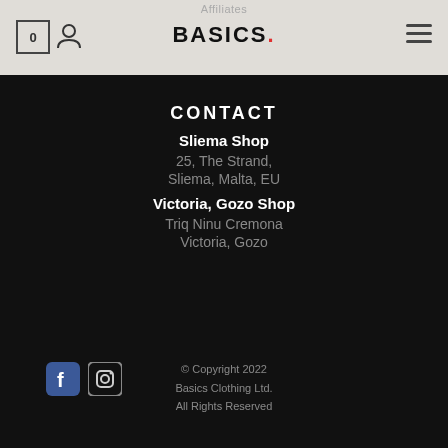Affiliates
[Figure (logo): BASICS. logo with red dot, shopping cart icon with 0, user icon, and hamburger menu]
CONTACT
Sliema Shop
25, The Strand,
Sliema, Malta, EU
Victoria, Gozo Shop
Triq Ninu Cremona
Victoria, Gozo
[Figure (logo): Facebook and Instagram social media icons]
© Copyright 2022
Basics Clothing Ltd.
All Rights Reserved